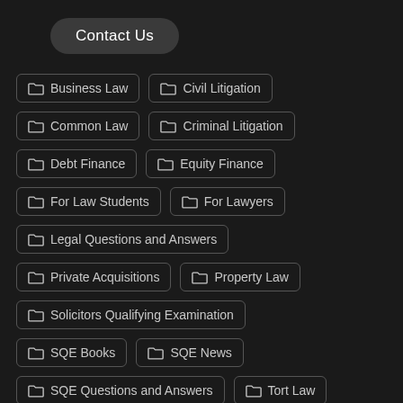Contact Us
Business Law
Civil Litigation
Common Law
Criminal Litigation
Debt Finance
Equity Finance
For Law Students
For Lawyers
Legal Questions and Answers
Private Acquisitions
Property Law
Solicitors Qualifying Examination
SQE Books
SQE News
SQE Questions and Answers
Tort Law